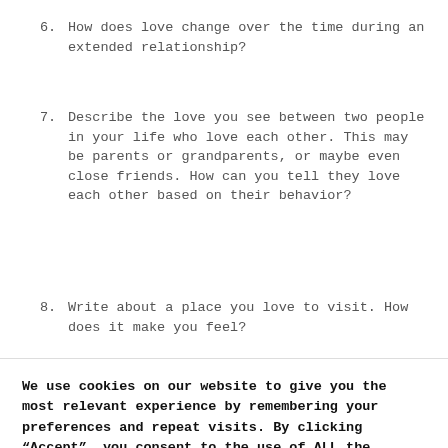6. How does love change over the time during an extended relationship?
7. Describe the love you see between two people in your life who love each other. This may be parents or grandparents, or maybe even close friends. How can you tell they love each other based on their behavior?
8. Write about a place you love to visit. How does it make you feel?
We use cookies on our website to give you the most relevant experience by remembering your preferences and repeat visits. By clicking “Accept”, you consent to the use of ALL the cookies.
Do not sell my personal information.
Cookie Settings | Accept